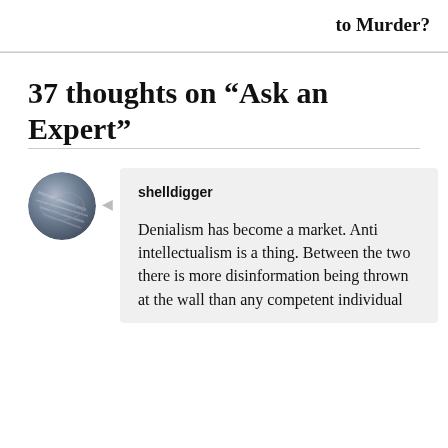to Murder?
37 thoughts on “Ask an Expert”
[Figure (photo): Circular avatar photo of user shelldigger, showing a blurred shell or rock-like texture in grey/blue tones.]
shelldigger
Denialism has become a market. Anti intellectualism is a thing. Between the two there is more disinformation being thrown at the wall than any competent individual